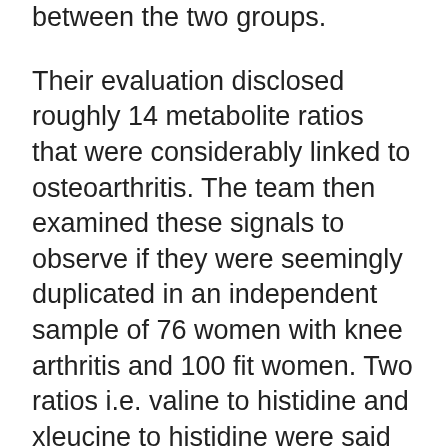between the two groups.
Their evaluation disclosed roughly 14 metabolite ratios that were considerably linked to osteoarthritis. The team then examined these signals to observe if they were seemingly duplicated in an independent sample of 76 women with knee arthritis and 100 fit women. Two ratios i.e. valine to histidine and xleucine to histidine were said to be established effectively.
Dr Guangju Zhai from the Department of Twin Research and